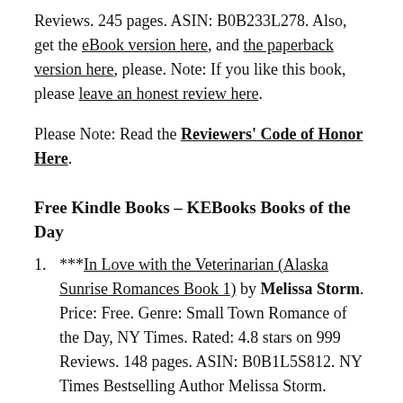Reviews. 245 pages. ASIN: B0B233L278. Also, get the eBook version here, and the paperback version here, please. Note: If you like this book, please leave an honest review here.
Please Note: Read the Reviewers' Code of Honor Here.
Free Kindle Books – KEBooks Books of the Day
***In Love with the Veterinarian (Alaska Sunrise Romances Book 1) by Melissa Storm. Price: Free. Genre: Small Town Romance of the Day, NY Times. Rated: 4.8 stars on 999 Reviews. 148 pages. ASIN: B0B1L5S812. NY Times Bestselling Author Melissa Storm.
*Destiny's Demise – A Daniel Myers Case File by